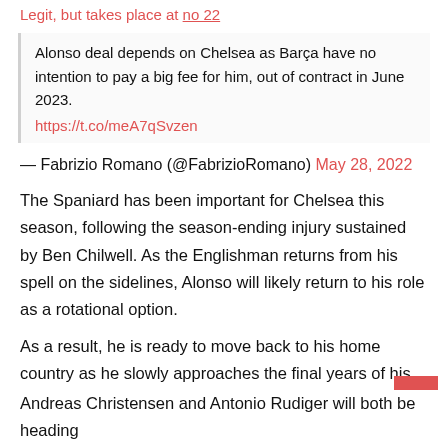Alonso deal depends on Chelsea as Barça have no intention to pay a big fee for him, out of contract in June 2023. https://t.co/meA7qSvzen
— Fabrizio Romano (@FabrizioRomano) May 28, 2022
The Spaniard has been important for Chelsea this season, following the season-ending injury sustained by Ben Chilwell. As the Englishman returns from his spell on the sidelines, Alonso will likely return to his role as a rotational option.
As a result, he is ready to move back to his home country as he slowly approaches the final years of his career. Talks between the two clubs for the transfer are not scheduled as of yet, but will be arranged once the new owners have been officially confirmed.
Andreas Christensen and Antonio Rudiger will both be heading